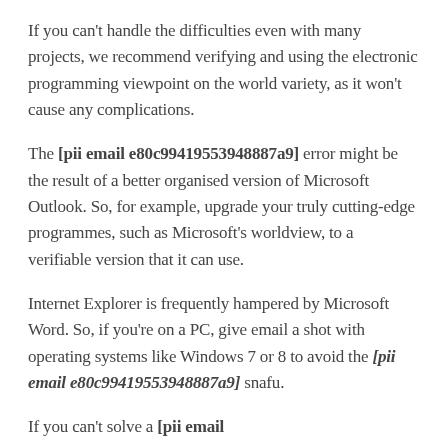If you can't handle the difficulties even with many projects, we recommend verifying and using the electronic programming viewpoint on the world variety, as it won't cause any complications.
The [pii email e80c99419553948887a9] error might be the result of a better organised version of Microsoft Outlook. So, for example, upgrade your truly cutting-edge programmes, such as Microsoft's worldview, to a verifiable version that it can use.
Internet Explorer is frequently hampered by Microsoft Word. So, if you're on a PC, give email a shot with operating systems like Windows 7 or 8 to avoid the [pii email e80c99419553948887a9] snafu.
If you can't solve a [pii email